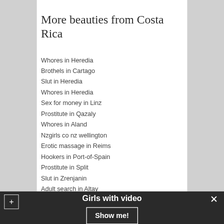More beauties from Costa Rica
Whores in Heredia
Brothels in Cartago
Slut in Heredia
Whores in Heredia
Sex for money in Linz
Prostitute in Qazaly
Whores in Aland
Nzgirls co nz wellington
Erotic massage in Reims
Hookers in Port-of-Spain
Prostitute in Split
Slut in Zrenjanin
Adult search in Altay
Girls with video
Show me!